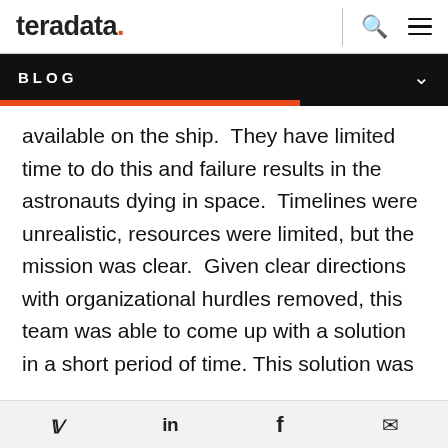teradata. [logo with search and menu icons]
BLOG
available on the ship.  They have limited time to do this and failure results in the astronauts dying in space.  Timelines were unrealistic, resources were limited, but the mission was clear.  Given clear directions with organizational hurdles removed, this team was able to come up with a solution in a short period of time. This solution was not only feasible but was suitable to perform in the most difficult of circumstances.  What I have learned in
Social share icons: Twitter, LinkedIn, Facebook, Email